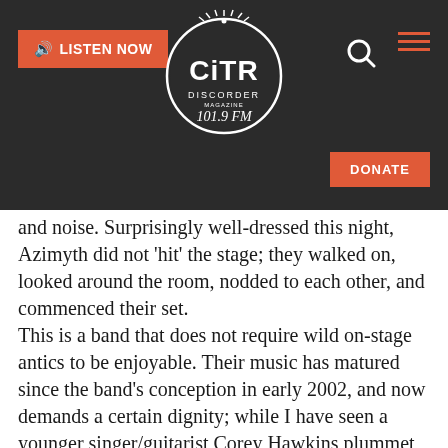[Figure (logo): CiTR Discorder 101.9 FM radio station logo in white on dark background, with radiating lines above]
LISTEN NOW
DONATE
and noise. Surprisingly well-dressed this night, Azimyth did not 'hit' the stage; they walked on, looked around the room, nodded to each other, and commenced their set. This is a band that does not require wild on-stage antics to be enjoyable. Their music has matured since the band's conception in early 2002, and now demands a certain dignity; while I have seen a younger singer/guitarist Corey Hawkins plummet to the stage floor in Cobainesque anguish, this was not the case tonight. I appreciate this band for their soft-to-heavy transitions on all fronts. Dancing